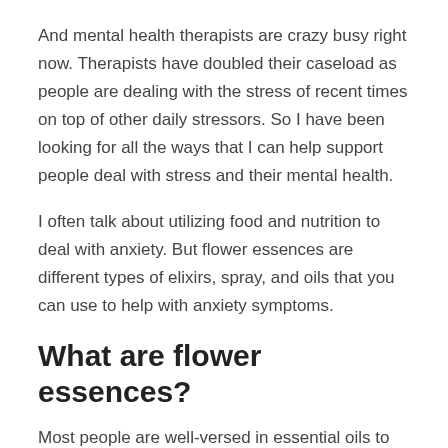And mental health therapists are crazy busy right now. Therapists have doubled their caseload as people are dealing with the stress of recent times on top of other daily stressors. So I have been looking for all the ways that I can help support people deal with stress and their mental health.
I often talk about utilizing food and nutrition to deal with anxiety. But flower essences are different types of elixirs, spray, and oils that you can use to help with anxiety symptoms.
What are flower essences?
Most people are well-versed in essential oils to some degree. Flower essences are similar. However, they're considered safer because it's a topical application. You don't have to worry about anything burning your skin as it doesn't need to be mixed with other oils.